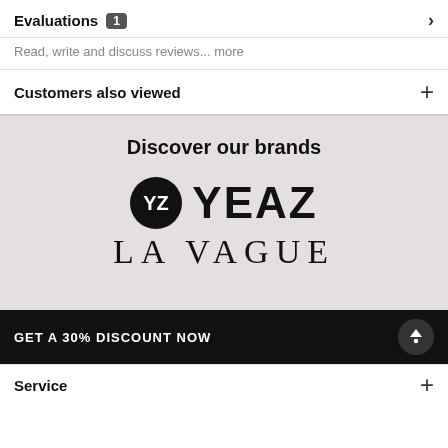Evaluations 1
Read, write and discuss reviews... more
Customers also viewed
[Figure (logo): YEAZ LA VAGUE brand logo with circular XZ emblem, shown under 'Discover our brands' heading on a light gray background]
GET A 30% DISCOUNT NOW
Service